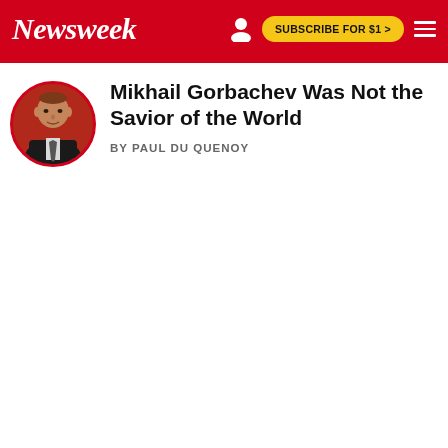Newsweek
Mikhail Gorbachev Was Not the Savior of the World
BY PAUL DU QUENOY